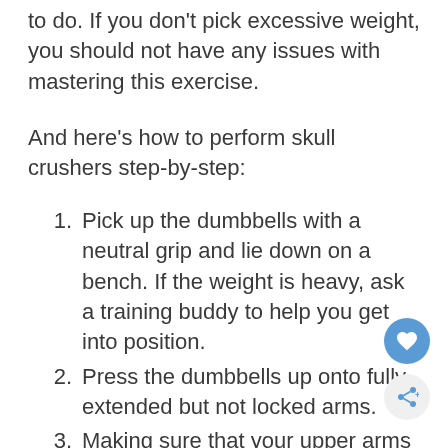to do. If you don't pick excessive weight, you should not have any issues with mastering this exercise.
And here’s how to perform skull crushers step-by-step:
Pick up the dumbbells with a neutral grip and lie down on a bench. If the weight is heavy, ask a training buddy to help you get into position.
Press the dumbbells up onto fully extended but not locked arms.
Making sure that your upper arms stay perpendicular to the ground (at 90